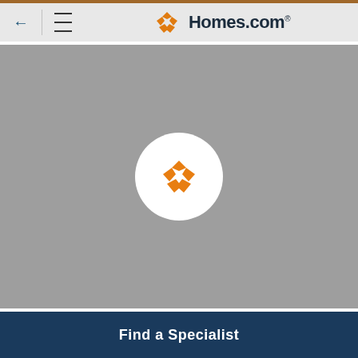← ≡ Homes.com
[Figure (screenshot): Gray map area with a white circle containing the Homes.com orange logo in the center]
Est. $234,144
Find a Specialist